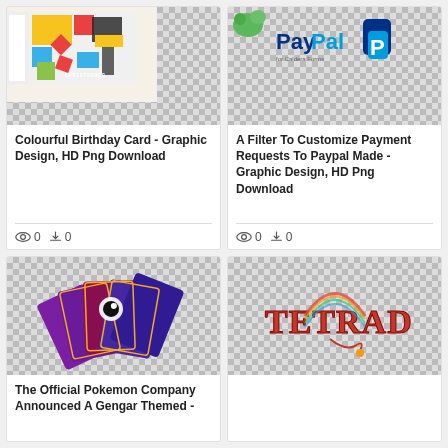[Figure (illustration): Colourful birthday card graphic with geometric patterns and name 'Christopher']
Colourful Birthday Card - Graphic Design, HD Png Download
0  0
[Figure (logo): PayPal for Caldera Forms logo with PayPal branding and blue logo mark]
A Filter To Customize Payment Requests To Paypal Made - Graphic Design, HD Png Download
0  0
[Figure (illustration): Pokemon trading cards spread out showing Gengar themed cards with purple and dark colors]
The Official Pokemon Company Announced A Gengar Themed -
[Figure (logo): Tetrad logo in multicolored retro style text with decorative elements]